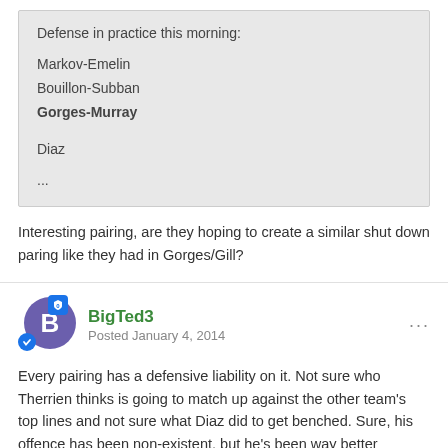Defense in practice this morning:
Markov-Emelin
Bouillon-Subban
Gorges-Murray
Diaz
...
Interesting pairing, are they hoping to create a similar shut down paring like they had in Gorges/Gill?
BigTed3
Posted January 4, 2014
Every pairing has a defensive liability on it. Not sure who Therrien thinks is going to match up against the other team's top lines and not sure what Diaz did to get benched. Sure, his offence has been non-existent, but he's been way better defensively than Emelin, Bouillon, and Murray.